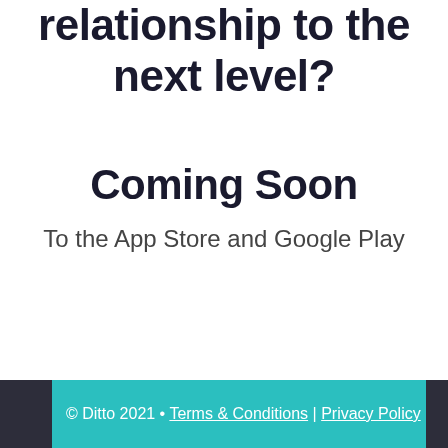relationship to the next level?
Coming Soon
To the App Store and Google Play
© Ditto 2021 • Terms & Conditions | Privacy Policy